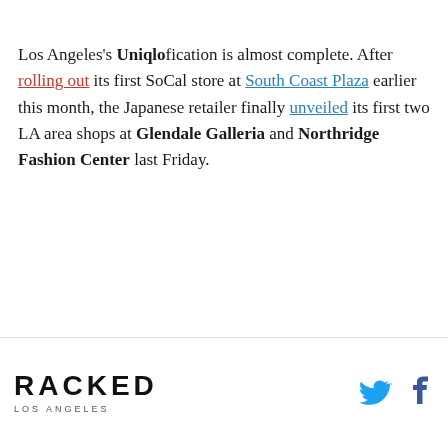Los Angeles's Uniqlofication is almost complete. After rolling out its first SoCal store at South Coast Plaza earlier this month, the Japanese retailer finally unveiled its first two LA area shops at Glendale Galleria and Northridge Fashion Center last Friday.
RACKED LOS ANGELES